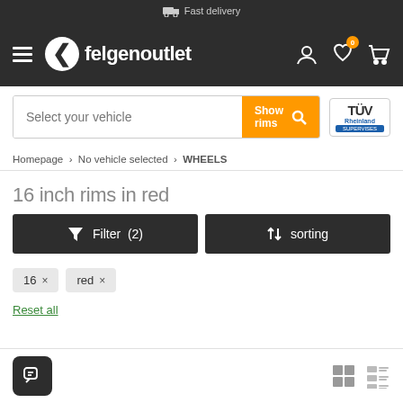Fast delivery
[Figure (screenshot): felgenoutlet website header navigation bar with hamburger menu, logo, user icon, heart wishlist icon with badge '0', and cart icon]
[Figure (screenshot): Vehicle selector search bar with 'Select your vehicle' placeholder, orange 'Show rims' button with search icon, and TÜV Rheinland Supervises badge]
Homepage › No vehicle selected › WHEELS
16 inch rims in red
[Figure (screenshot): Dark filter button showing funnel icon and 'Filter (2)', and dark sorting button showing up-down arrows and 'sorting']
16 ×
red ×
Reset all
Chat button and grid/list view toggles